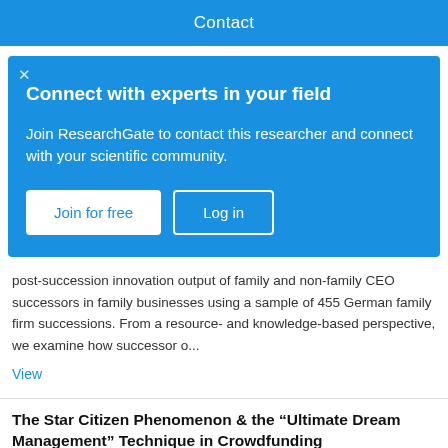Contact
Connect with experts in your field
Join ResearchGate to contact this researcher and connect with your scientific community.
Join for free | Log in
post-succession innovation output of family and non-family CEO successors in family businesses using a sample of 455 German family firm successions. From a resource- and knowledge-based perspective, we examine how successor o...
View
The Star Citizen Phenomenon & the “Ultimate Dream Management” Technique in Crowdfunding
Conference Paper   Full-text available
Dec 2019